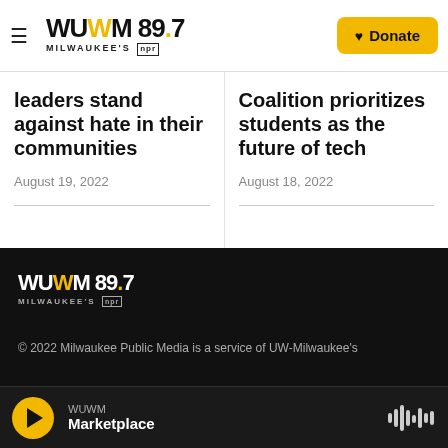WUWM 89.7 Milwaukee's NPR — Donate
leaders stand against hate in their communities
August 19, 2022
Coalition prioritizes students as the future of tech
August 18, 2022
[Figure (logo): WUWM 89.7 Milwaukee's NPR logo in white on black background]
© 2022 Milwaukee Public Media is a service of UW-Milwaukee's
WUWM Marketplace